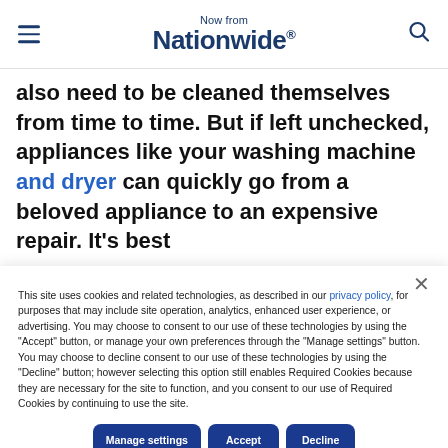Now from Nationwide®
also need to be cleaned themselves from time to time. But if left unchecked, appliances like your washing machine and dryer can quickly go from a beloved appliance to an expensive repair. It's best
This site uses cookies and related technologies, as described in our privacy policy, for purposes that may include site operation, analytics, enhanced user experience, or advertising. You may choose to consent to our use of these technologies by using the "Accept" button, or manage your own preferences through the "Manage settings" button. You may choose to decline consent to our use of these technologies by using the "Decline" button; however selecting this option still enables Required Cookies because they are necessary for the site to function, and you consent to our use of Required Cookies by continuing to use the site.